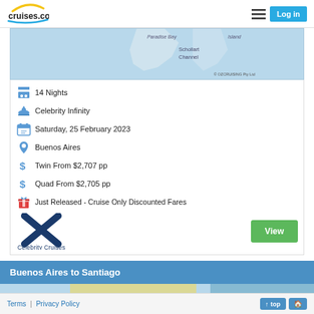cruises.com.au | Log in
[Figure (map): Partial cruise route map showing Schollart Channel and surrounding water areas with text 'Paradise Bay' and 'Island' partially visible. Copyright OZCRUISING Pty Ltd.]
14 Nights
Celebrity Infinity
Saturday, 25 February 2023
Buenos Aires
Twin From $2,707 pp
Quad From $2,705 pp
Just Released - Cruise Only Discounted Fares
[Figure (logo): Celebrity Cruises logo with large blue X and 'Celebrity Cruises' text below]
View
Buenos Aires to Santiago
[Figure (map): Bottom strip of a cruise route map in blue and yellow tones]
Terms | Privacy Policy   ↑ top  🏠